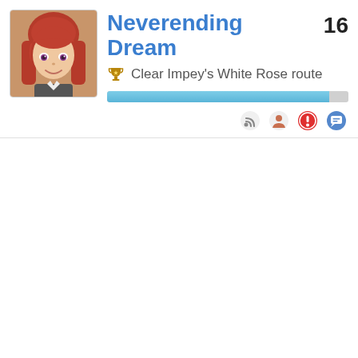[Figure (illustration): Character portrait showing a young man with long red/auburn hair, smiling, in a stylized anime art style with a warm brown/tan color scheme border]
Neverending Dream
16
🏆 Clear Impey's White Rose route
[Figure (infographic): Horizontal progress bar showing approximately 92% completion, filled with a blue/teal gradient, on a light grey background]
[Figure (infographic): Row of four icons: RSS feed icon, user/person icon, warning/alert icon (red circle with exclamation), and a chat/comment icon]